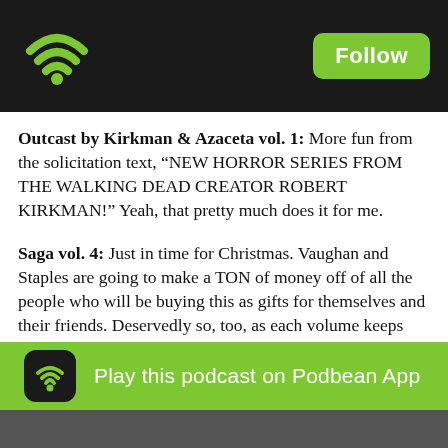Follow
Outcast by Kirkman & Azaceta vol. 1: More fun from the solicitation text, “NEW HORROR SERIES FROM THE WALKING DEAD CREATOR ROBERT KIRKMAN!” Yeah, that pretty much does it for me.
Saga vol. 4: Just in time for Christmas. Vaughan and Staples are going to make a TON of money off of all the people who will be buying this as gifts for themselves and their friends. Deservedly so, too, as each volume keeps getting better. This time, Marko and Alanna try to make ends meet by way of superhero performance art… At least, that’s the impression I got from how the previous volume ended. We’ll see how that works out for them.
Sex Criminals vol. 2: Two Worlds, One Cup: Hey Fraction, I SEE WHAT YOU DID THERE WITH THE TITLE! Anyway, same deal here as it was with “Black Science” and “Manifest Destiny.” Liked the first volume, looking to see how this one builds on that. Hopefully by making antagonist Kegelface into an actual character instead of a no-fun zone. That being said, we’re told … time-stoppers J… where their relationship goes from the initial brothel to …
[Figure (other): Podbean app banner: green bar with Podbean wifi icon and text 'Play this podcast on Podbean App']